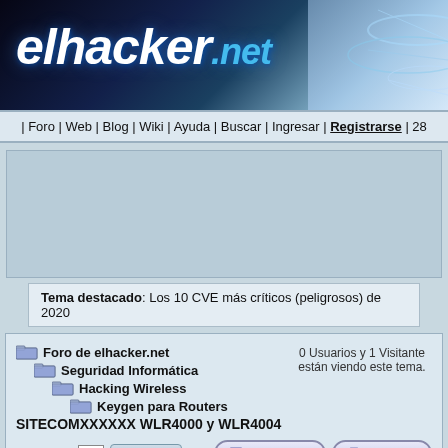[Figure (logo): elhacker.net website logo banner with blue gradient background and tech imagery]
| Foro | Web | Blog | Wiki | Ayuda | Buscar | Ingresar | Registrarse | 28
[Figure (other): Advertisement banner area (light blue/grey rectangle)]
Tema destacado: Los 10 CVE más críticos (peligrosos) de 2020
Foro de elhacker.net > Seguridad Informática > Hacking Wireless > Keygen para Routers SITECOMXXXXXX WLR4000 y WLR4004
0 Usuarios y 1 Visitante están viendo este tema.
Páginas: [1]  ir abajo    responder   imprimir